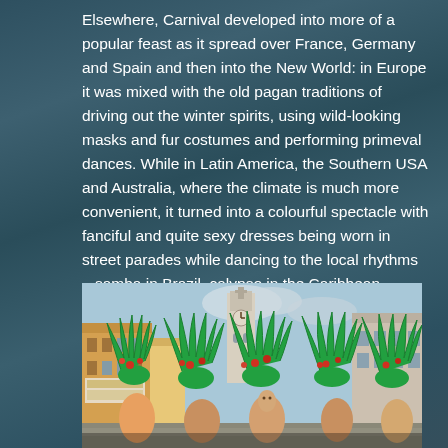Elsewhere, Carnival developed into more of a popular feast as it spread over France, Germany and Spain and then into the New World: in Europe it was mixed with the old pagan traditions of driving out the winter spirits, using wild-looking masks and fur costumes and performing primeval dances. While in Latin America, the Southern USA and Australia, where the climate is much more convenient, it turned into a colourful spectacle with fanciful and quite sexy dresses being worn in street parades while dancing to the local rhythms – samba in Brazil, calypso in the Caribbean, banda in Mexico, and jazz in New Orleans!
[Figure (photo): Carnival parade in a street with performers wearing large green feathered costumes and headdresses, with a church tower visible in the background and buildings lining the street.]